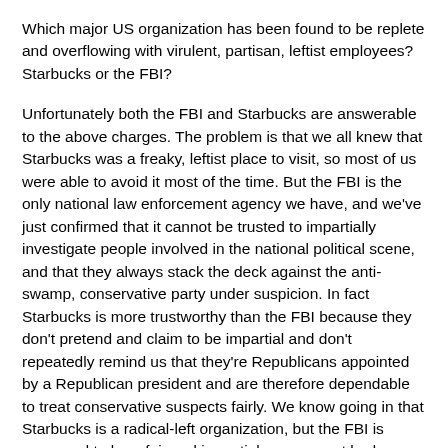Which major US organization has been found to be replete and overflowing with virulent, partisan, leftist employees? Starbucks or the FBI?
Unfortunately both the FBI and Starbucks are answerable to the above charges. The problem is that we all knew that Starbucks was a freaky, leftist place to visit, so most of us were able to avoid it most of the time. But the FBI is the only national law enforcement agency we have, and we've just confirmed that it cannot be trusted to impartially investigate people involved in the national political scene, and that they always stack the deck against the anti-swamp, conservative party under suspicion. In fact Starbucks is more trustworthy than the FBI because they don't pretend and claim to be impartial and don't repeatedly remind us that they're Republicans appointed by a Republican president and are therefore dependable to treat conservative suspects fairly. We know going in that Starbucks is a radical-left organization, but the FBI is supposed to be a fair and impartial government body concerned only with enforcing the constitution and the law